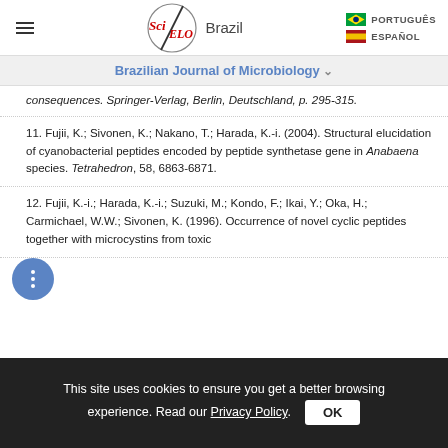SciELO Brazil | Brazilian Journal of Microbiology | PORTUGUÊS | ESPAÑOL
Brazilian Journal of Microbiology
consequences. Springer-Verlag, Berlin, Deutschland, p. 295-315.
11. Fujii, K.; Sivonen, K.; Nakano, T.; Harada, K.-i. (2004). Structural elucidation of cyanobacterial peptides encoded by peptide synthetase gene in Anabaena species. Tetrahedron, 58, 6863-6871.
12. Fujii, K.-i.; Harada, K.-i.; Suzuki, M.; Kondo, F.; Ikai, Y.; Oka, H.; Carmichael, W.W.; Sivonen, K. (1996). Occurrence of novel cyclic peptides together with microcystins from toxic
This site uses cookies to ensure you get a better browsing experience. Read our Privacy Policy.